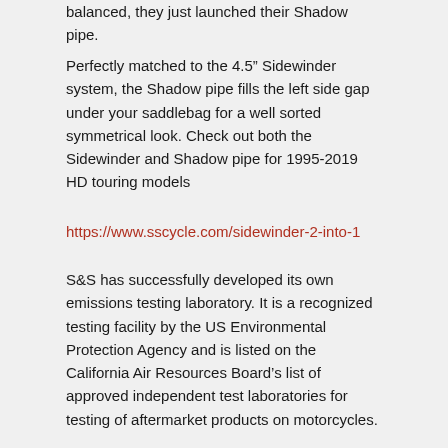balanced, they just launched their Shadow pipe.
Perfectly matched to the 4.5” Sidewinder system, the Shadow pipe fills the left side gap under your saddlebag for a well sorted symmetrical look. Check out both the Sidewinder and Shadow pipe for 1995-2019 HD touring models
https://www.sscycle.com/sidewinder-2-into-1
S&S has successfully developed its own emissions testing laboratory. It is a recognized testing facility by the US Environmental Protection Agency and is listed on the California Air Resources Board’s list of approved independent test laboratories for testing of aftermarket products on motorcycles.